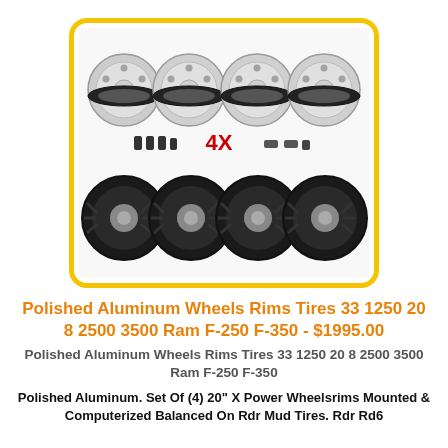[Figure (photo): Product photo showing four polished aluminum wheels/rims on top row, lug nuts and hardware in center labeled 4X, and four large mud tires on bottom row, all within a yellow-bordered rounded rectangle]
Polished Aluminum Wheels Rims Tires 33 1250 20 8 2500 3500 Ram F-250 F-350 - $1995.00
Polished Aluminum Wheels Rims Tires 33 1250 20 8 2500 3500 Ram F-250 F-350
Polished Aluminum. Set Of (4) 20" X Power Wheelsrims Mounted & Computerized Balanced On Rdr Mud Tires. Rdr Rd6